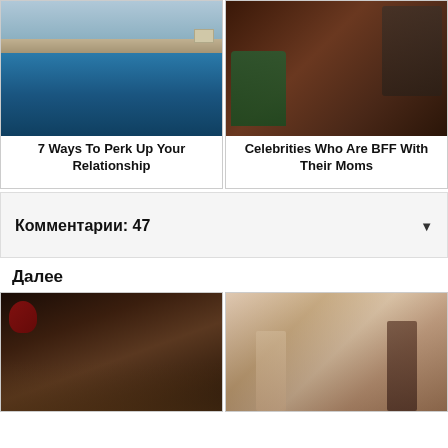[Figure (photo): Person swimming in an infinity pool with a view of water and landscape]
7 Ways To Perk Up Your Relationship
[Figure (photo): Two celebrities at an event, man in tuxedo and woman in green dress]
Celebrities Who Are BFF With Their Moms
Комментарии: 47
Далее
[Figure (photo): Older woman with long blonde hair holding a red mask]
[Figure (photo): Group of people in nude-colored bodysuits posing together]